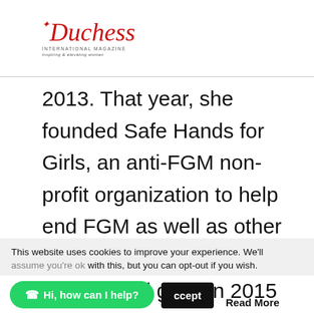Duchess International Magazine – inspiring & elevating women
2013. That year, she founded Safe Hands for Girls, an anti-FGM non-profit organization to help end FGM as well as other forms of violence against women and girls. In 2015 Dukureh became an American citizen. She went on to obtaine a Master's degree in Non-Profit Management from The University of Central Florida in 2018.
This website uses cookies to improve your experience. We'll assume you're ok with this, but you can opt-out if you wish.
Hi, how can I help?
Accept
Read More